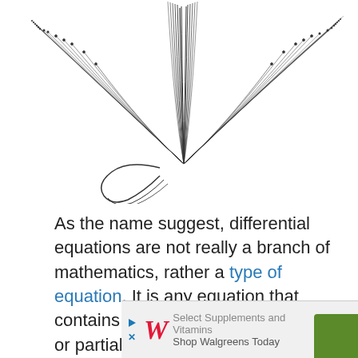[Figure (illustration): A complex mathematical illustration showing radiating curved lines forming a spiral/feather-like pattern, with an outlined downward-pointing triangle to the right.]
As the name suggest, differential equations are not really a branch of mathematics, rather a type of equation. It is any equation that contains either ordinary derivatives or partial derivatives.
The equations define the relationship between the function, which represents physical quantities, and the derivatives, which represents the rates of change.
[Figure (screenshot): Walgreens advertisement banner: Select Supplements and Vitamins, Shop Walgreens Today]